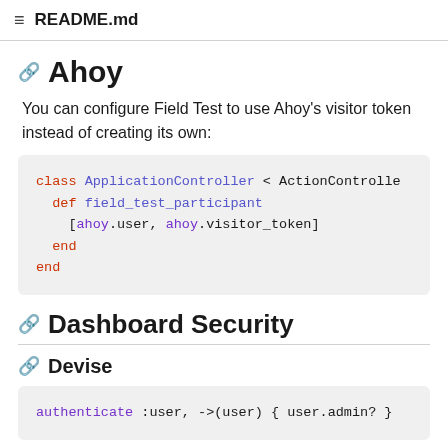README.md
Ahoy
You can configure Field Test to use Ahoy's visitor token instead of creating its own:
Dashboard Security
Devise